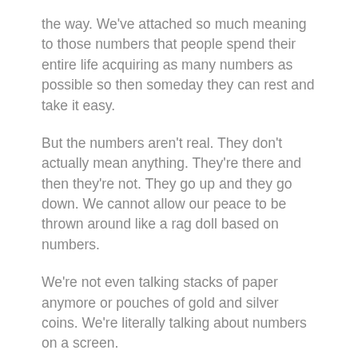the way. We've attached so much meaning to those numbers that people spend their entire life acquiring as many numbers as possible so then someday they can rest and take it easy.
But the numbers aren't real. They don't actually mean anything. They're there and then they're not. They go up and they go down. We cannot allow our peace to be thrown around like a rag doll based on numbers.
We're not even talking stacks of paper anymore or pouches of gold and silver coins. We're literally talking about numbers on a screen.
When you make God real